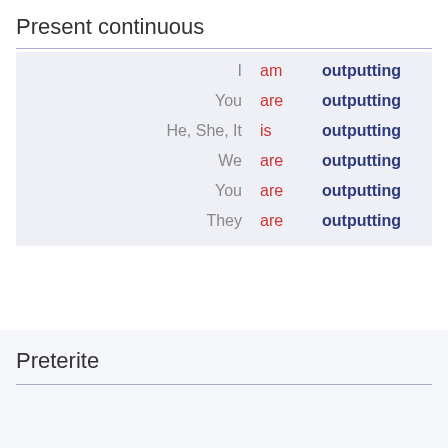Present continuous
| Subject | Auxiliary | Participle |
| --- | --- | --- |
| I | am | outputting |
| You | are | outputting |
| He, She, It | is | outputting |
| We | are | outputting |
| You | are | outputting |
| They | are | outputting |
Preterite